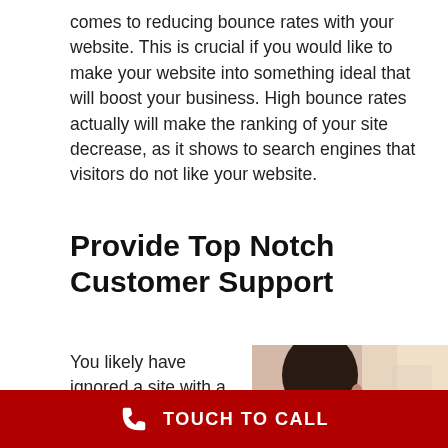comes to reducing bounce rates with your website. This is crucial if you would like to make your website into something ideal that will boost your business. High bounce rates actually will make the ranking of your site decrease, as it shows to search engines that visitors do not like your website.
Provide Top Notch Customer Support
You likely have ignored a site with a high
[Figure (photo): Woman viewed from behind with dark hair, wearing a headset, in a blurred office environment suggesting a customer support representative]
[Figure (infographic): Red call-to-action bar at bottom of page with a white telephone handset icon and the text TOUCH TO CALL in white capital letters]